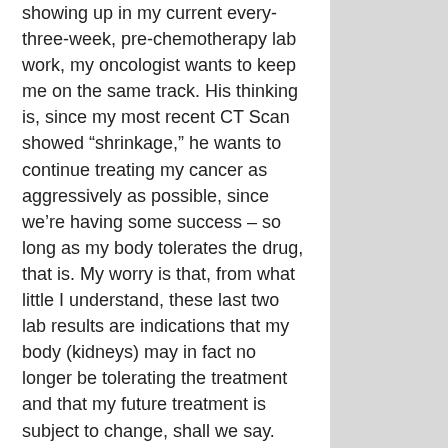showing up in my current every-three-week, pre-chemotherapy lab work, my oncologist wants to keep me on the same track. His thinking is, since my most recent CT Scan showed “shrinkage,” he wants to continue treating my cancer as aggressively as possible, since we’re having some success – so long as my body tolerates the drug, that is. My worry is that, from what little I understand, these last two lab results are indications that my body (kidneys) may in fact no longer be tolerating the treatment and that my future treatment is subject to change, shall we say.
For the moment however, the change will not be in the drug I’m infusing but with the frequency. I will still be scheduled for my chemotherapy every three weeks, with my usual pre-chemotherapy lab work the Wednesday before the Friday. If my creatinine level is too high on that first test, we will delay the infusion by one week and I will return to the lab the following Wednesday and hope for an improved result.